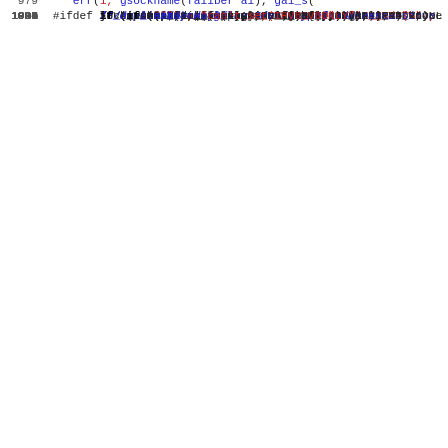[Figure (screenshot): Source code listing in C, lines 979-1011, showing socket creation and configuration code including socket(), fd_set_nonblock(), setsockopt() calls with error handling, and IPv6-only conditional compilation block.]